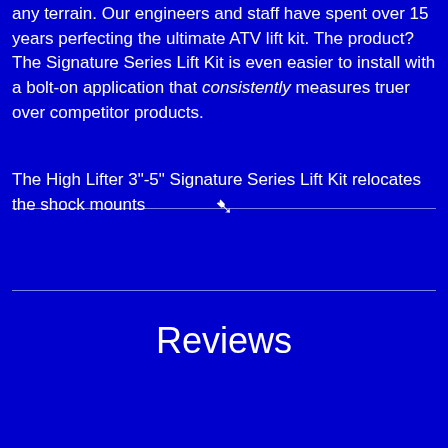any terrain. Our engineers and staff have spent over 15 years perfecting the ultimate ATV lift kit. The product? The Signature Series Lift Kit is even easier to install with a bolt-on application that consistently measures truer over competitor products.
The High Lifter 3"-5" Signature Series Lift Kit relocates the shock mounts
Reviews